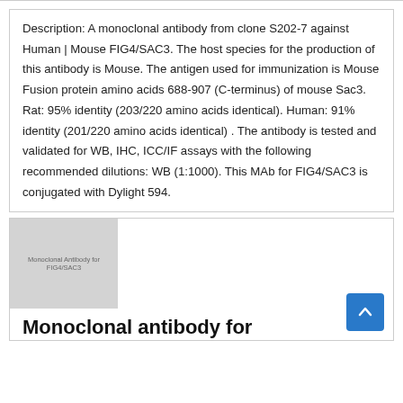Description: A monoclonal antibody from clone S202-7 against Human | Mouse FIG4/SAC3. The host species for the production of this antibody is Mouse. The antigen used for immunization is Mouse Fusion protein amino acids 688-907 (C-terminus) of mouse Sac3. Rat: 95% identity (203/220 amino acids identical). Human: 91% identity (201/220 amino acids identical) . The antibody is tested and validated for WB, IHC, ICC/IF assays with the following recommended dilutions: WB (1:1000). This MAb for FIG4/SAC3 is conjugated with Dylight 594.
[Figure (photo): Monoclonal antibody for FIG4/SAC3 product image placeholder (gray rectangle with text label)]
Monoclonal antibody for